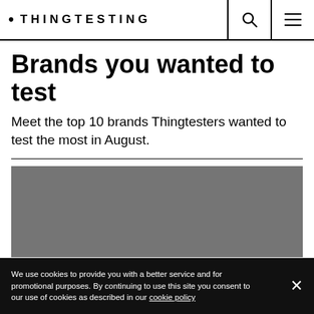• THINGTESTING
Brands you wanted to test
Meet the top 10 brands Thingtesters wanted to test the most in August.
[Figure (photo): Grey rectangular image placeholder below a horizontal divider line]
We use cookies to provide you with a better service and for promotional purposes. By continuing to use this site you consent to our use of cookies as described in our cookie policy